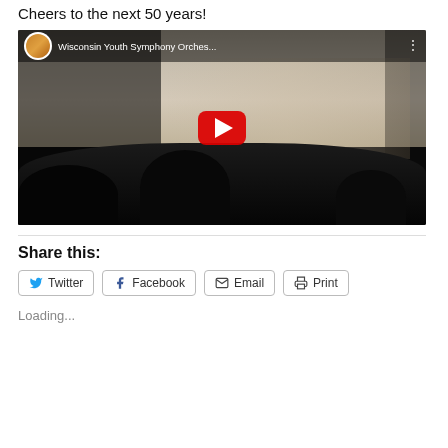Cheers to the next 50 years!
[Figure (screenshot): YouTube video thumbnail showing Wisconsin Youth Symphony Orches... with an orchestra performing on stage, audience silhouettes in foreground, red YouTube play button in center]
Share this:
Twitter
Facebook
Email
Print
Loading...